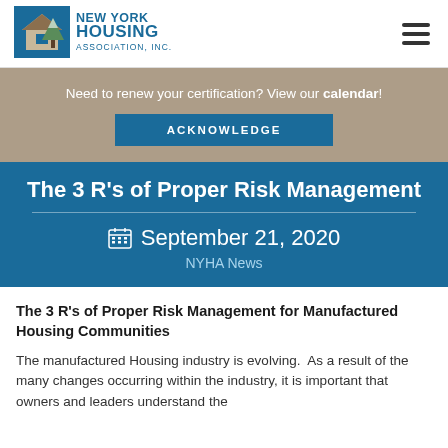[Figure (logo): New York Housing Association, Inc. logo with house and tree icon]
Need to renew your certification? View our calendar!
ACKNOWLEDGE
The 3 R's of Proper Risk Management
September 21, 2020
NYHA News
The 3 R's of Proper Risk Management for Manufactured Housing Communities
The manufactured Housing industry is evolving.  As a result of the many changes occurring within the industry, it is important that owners and leaders understand the